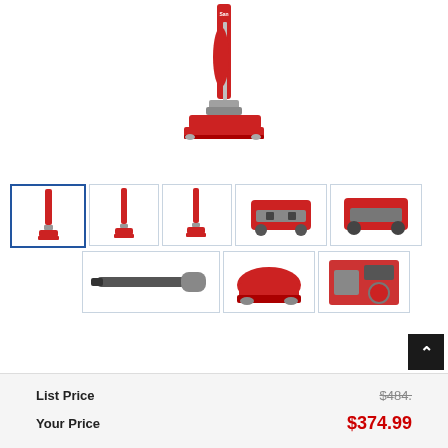[Figure (photo): Main product image of a red Sanitaire commercial upright vacuum cleaner against white background]
[Figure (photo): Thumbnail gallery of vacuum cleaner showing 8 product photos: full vacuum views, brush head close-ups, handle, and detail shots]
List Price   $484.
Your Price   $374.99